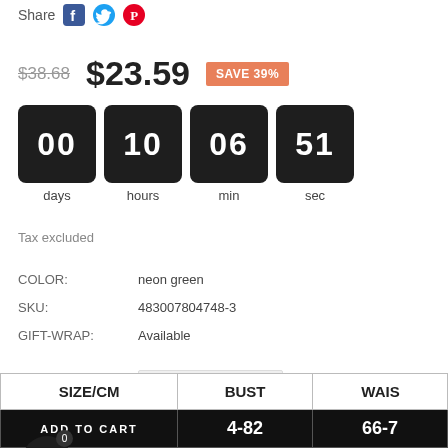Share
$38.68  $23.59  SAVE 39%
[Figure (other): Countdown timer showing 00 days, 10 hours, 06 min, 51 sec]
Tax excluded
COLOR:    neon green
SKU:    483007804748-3
GIFT-WRAP:    Available
SIZE    S (dropdown)
QUANTITY    1
| SIZE/CM | BUST | WAI... |
| --- | --- | --- |
| (ADD TO CART) | 4-82 | 66-7 |